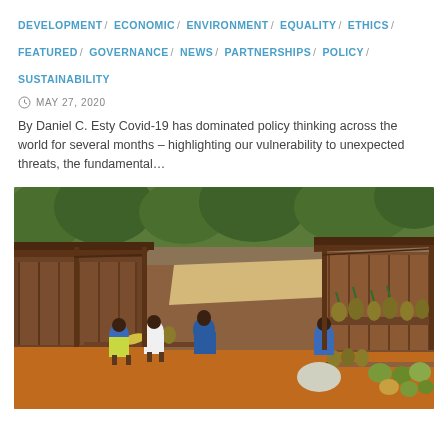DEVELOPMENT / ECONOMIC / ENVIRONMENT / EQUALITY / ETHICS / FEATURED / GOVERNANCE / NEWS / PARTNERSHIPS / POLICY / SUSTAINABILITY
MAY 27, 2020
By Daniel C. Esty Covid-19 has dominated policy thinking across the world for several months – highlighting our vulnerability to unexpected threats, the fundamental...
[Figure (photo): Outdoor market scene in rural Africa. Several women in blue clothing sit and interact near wooden market stalls. Fruits including pineapples, melons, and bananas are displayed on wooden benches. Background shows simple wooden structures with thatched and metal roofing, red-brown earth ground, and green trees.]